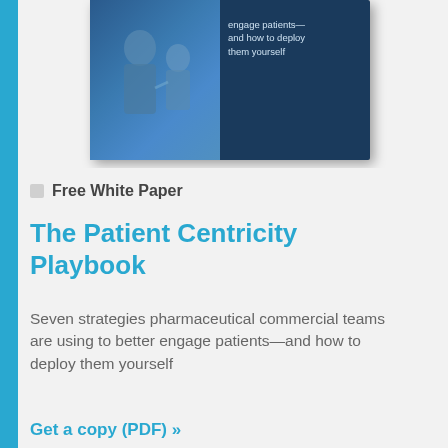[Figure (illustration): Book cover image of 'The Patient Centricity Playbook' — a dark navy blue book cover with a photo of a medical professional with a patient, and text on the right side reading 'engage patients— and how to deploy them yourself']
☐  Free White Paper
The Patient Centricity Playbook
Seven strategies pharmaceutical commercial teams are using to better engage patients—and how to deploy them yourself
Get a copy (PDF) »